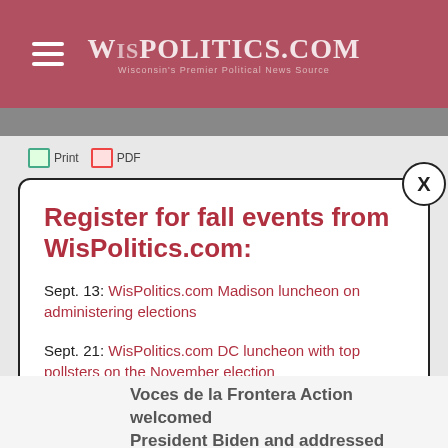WISPOLITICS.COM — Wisconsin's Premier Political News Source
Register for fall events from WisPolitics.com:
Sept. 13: WisPolitics.com Madison luncheon on administering elections
Sept. 21: WisPolitics.com DC luncheon with top pollsters on the November election
Sept. 29: Annual WisPolitics.com Midwest Polling Summit
Oct. 18: WisPolitics.com Madison luncheon on top legislative races
Voces de la Frontera Action welcomed President Biden and addressed what's